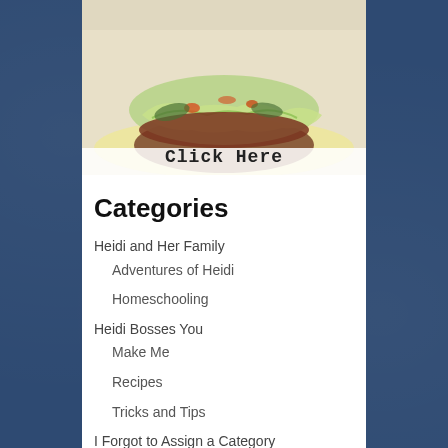[Figure (photo): Photo of a food item (burger/sandwich with lettuce and toppings on a plate) with 'Click Here' text overlay at the bottom]
Categories
Heidi and Her Family
Adventures of Heidi
Homeschooling
Heidi Bosses You
Make Me
Recipes
Tricks and Tips
I Forgot to Assign a Category
Word
For My Readers
Giraffes Ruin Everything
Hook's Revenge